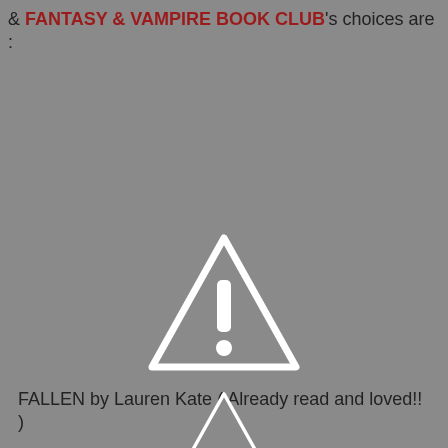& FANTASY & VAMPIRE BOOK CLUB's choices are :
[Figure (illustration): Warning triangle icon with exclamation mark, white symbol on gray background with white border]
FALLEN by Lauren Kate ( Already read and loved!! )
[Figure (illustration): Warning triangle icon, partially visible at bottom of page, white border on gray background]